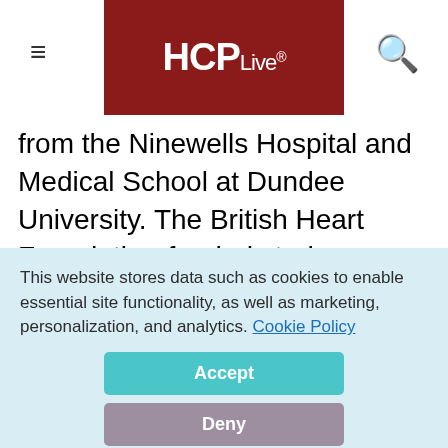HCPLive
from the Ninewells Hospital and Medical School at Dundee University. The British Heart Foundation-funded study compared the short-term impact of switching to electronic cigarettes—with or without nicotine—in adults who smoked more than 15 tobacco cigarettes a day for 2 or more years
This website stores data such as cookies to enable essential site functionality, as well as marketing, personalization, and analytics. Cookie Policy
Accept
Deny